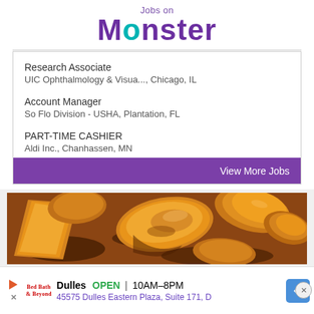Jobs on MONSTER
Research Associate
UIC Ophthalmology & Visua..., Chicago, IL
Account Manager
So Flo Division - USHA, Plantation, FL
PART-TIME CASHIER
Aldi Inc., Chanhassen, MN
View More Jobs
[Figure (photo): Close-up photo of caramelized or glazed apple slices in a pan]
Dulles  OPEN | 10AM–8PM
45575 Dulles Eastern Plaza, Suite 171, D